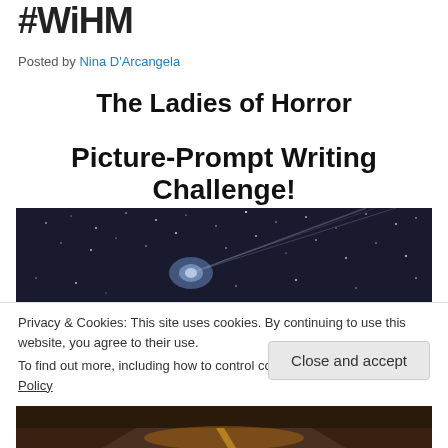#WiHM
Posted by Nina D'Arcangela
The Ladies of Horror
Picture-Prompt Writing Challenge!
[Figure (photo): Night sky photo with stars and light rays]
Privacy & Cookies: This site uses cookies. By continuing to use this website, you agree to their use.
To find out more, including how to control cookies, see here: Cookie Policy
Close and accept
[Figure (photo): Road at night photo]